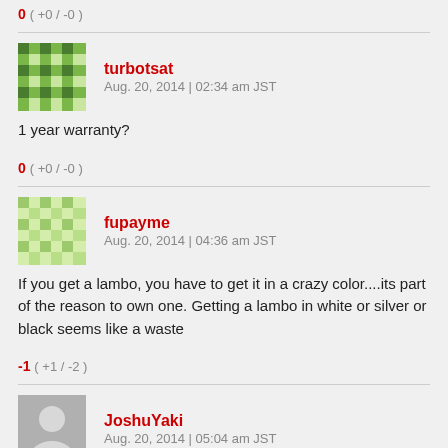0 ( +0 / -0 )
turbotsat
Aug. 20, 2014 | 02:34 am JST
1 year warranty?
0 ( +0 / -0 )
fupayme
Aug. 20, 2014 | 04:36 am JST
If you get a lambo, you have to get it in a crazy color....its part of the reason to own one. Getting a lambo in white or silver or black seems like a waste
-1 ( +1 / -2 )
JoshuYaki
Aug. 20, 2014 | 05:04 am JST